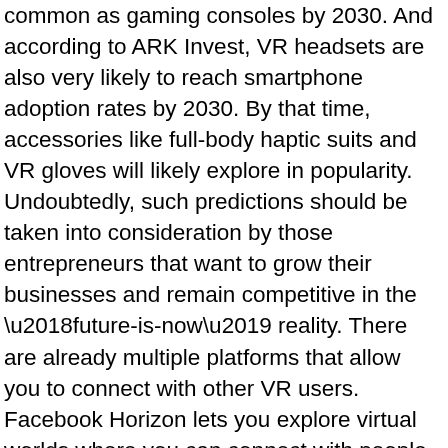common as gaming consoles by 2030. And according to ARK Invest, VR headsets are also very likely to reach smartphone adoption rates by 2030. By that time, accessories like full-body haptic suits and VR gloves will likely explore in popularity. Undoubtedly, such predictions should be taken into consideration by those entrepreneurs that want to grow their businesses and remain competitive in the ‘future-is-now’ reality. There are already multiple platforms that allow you to connect with other VR users. Facebook Horizon lets you explore virtual worlds where you can connect with people across the world, participate in fun challenges, and even create your virtual business worlds. Another great tool is Facebook Workroom is essentially a collaboration experience that helps bring people together and provide them with the tools necessary to establish more